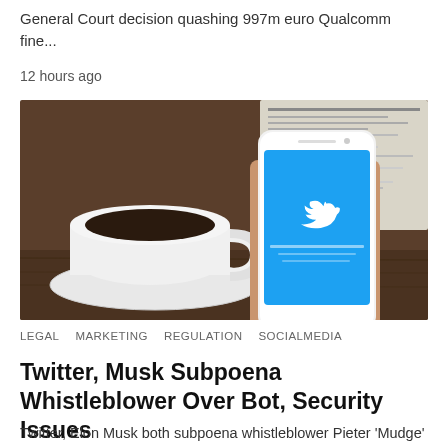General Court decision quashing 997m euro Qualcomm fine...
12 hours ago
[Figure (photo): Photo of a hand holding a white smartphone displaying the Twitter app (blue screen with bird logo), with a coffee cup and saucer and a newspaper in the background on a wooden table.]
LEGAL   MARKETING   REGULATION   SOCIALMEDIA
Twitter, Musk Subpoena Whistleblower Over Bot, Security Issues
Twitter, Elon Musk both subpoena whistleblower Pieter 'Mudge' Zathe over allegations of a security and bot...